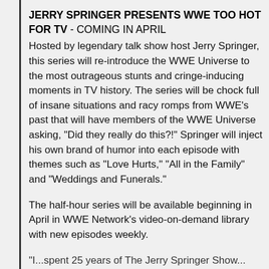JERRY SPRINGER PRESENTS WWE TOO HOT FOR TV - COMING IN APRIL
Hosted by legendary talk show host Jerry Springer, this series will re-introduce the WWE Universe to the most outrageous stunts and cringe-inducing moments in TV history. The series will be chock full of insane situations and racy romps from WWE's past that will have members of the WWE Universe asking, "Did they really do this?!" Springer will inject his own brand of humor into each episode with themes such as "Love Hurts," "All in the Family" and "Weddings and Funerals."
The half-hour series will be available beginning in April in WWE Network's video-on-demand library with new episodes weekly.
"I...spent 25 years of The Jerry Springer Show...